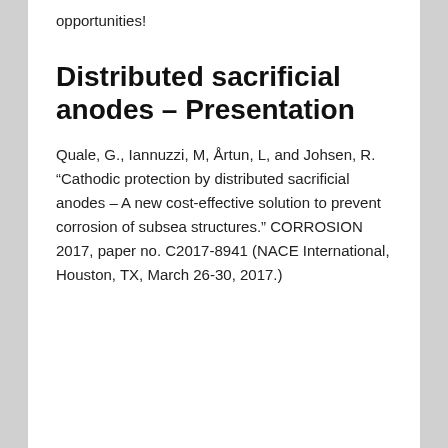opportunities!
Distributed sacrificial anodes – Presentation
Quale, G., Iannuzzi, M, Årtun, L, and Johsen, R. “Cathodic protection by distributed sacrificial anodes – A new cost-effective solution to prevent corrosion of subsea structures.” CORROSION 2017, paper no. C2017-8941 (NACE International, Houston, TX, March 26-30, 2017.)